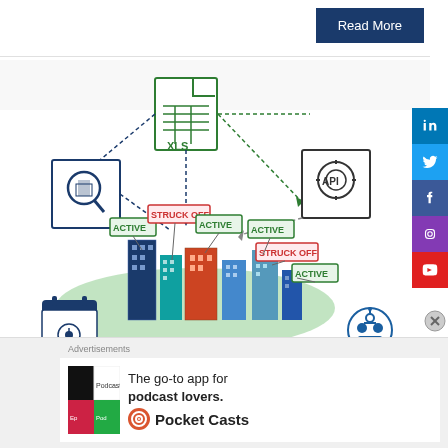[Figure (infographic): City buildings infographic showing company status icons (ACTIVE, STRUCK OFF) with XLS file icon, magnifying glass icon, API gear icon, calendar icon, and robot icon connected by dashed lines]
[Figure (infographic): Social media sidebar with LinkedIn, Twitter, Facebook, Instagram, YouTube icons]
Read More
Advertisements
[Figure (infographic): Pocket Casts advertisement: The go-to app for podcast lovers.]